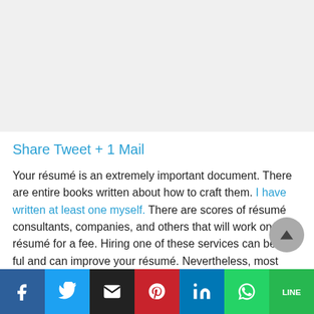[Figure (other): Gray advertisement/image placeholder at top of page]
Share Tweet + 1 Mail
Your résumé is an extremely important document. There are entire books written about how to craft them. I have written at least one myself. There are scores of résumé consultants, companies, and others that will work on your résumé for a fee. Hiring one of these services can be useful and can improve your résumé. Nevertheless, most résumés
[Figure (other): Social sharing footer bar with Facebook, Twitter, Email, Pinterest, LinkedIn, WhatsApp, and Line buttons]